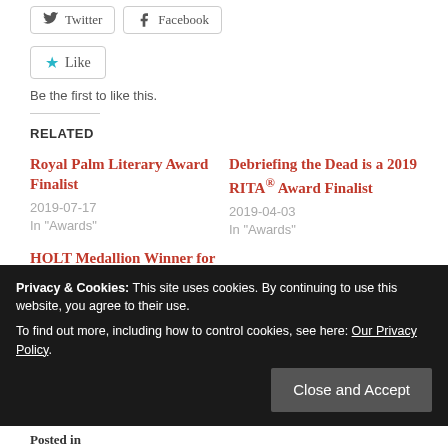[Figure (other): Social share buttons: Twitter and Facebook]
[Figure (other): Like button with star icon]
Be the first to like this.
RELATED
Royal Palm Literary Award Finalist
2019-07-17
In "Awards"
Debriefing the Dead is a 2019 RITA® Award Finalist
2019-04-03
In "Awards"
HOLT Medallion Winner for Best Paranormal and Best First Book
Privacy & Cookies: This site uses cookies. By continuing to use this website, you agree to their use.
To find out more, including how to control cookies, see here: Our Privacy Policy
Close and Accept
Posted in